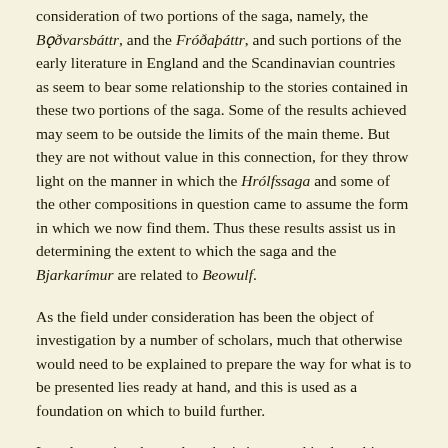consideration of two portions of the saga, namely, the Bǫðvarsbáttr, and the Fróðaþáttr, and such portions of the early literature in England and the Scandinavian countries as seem to bear some relationship to the stories contained in these two portions of the saga. Some of the results achieved may seem to be outside the limits of the main theme. But they are not without value in this connection, for they throw light on the manner in which the Hrólfssaga and some of the other compositions in question came to assume the form in which we now find them. Thus these results assist us in determining the extent to which the saga and the Bjarkarímur are related to Beowulf.
As the field under consideration has been the object of investigation by a number of scholars, much that otherwise would need to be explained to prepare the way for what is to be presented lies ready at hand, and this is used as a foundation on which to build further.
In order to give the reader who is interested in the subject, but has not made a special study of it, an idea of the problems involved, and the solutions that have been offered, the discussion is preceded by a brief survey of